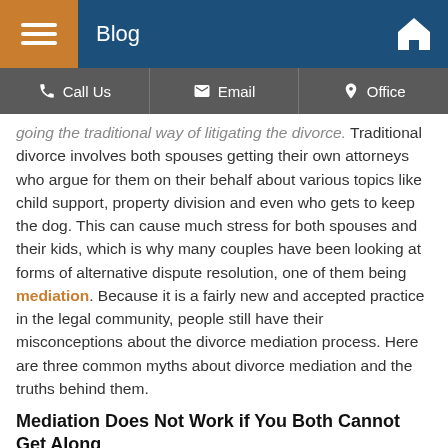Blog
Call Us | Email | Office
going the traditional way of litigating the divorce. Traditional divorce involves both spouses getting their own attorneys who argue for them on their behalf about various topics like child support, property division and even who gets to keep the dog. This can cause much stress for both spouses and their kids, which is why many couples have been looking at forms of alternative dispute resolution, one of them being mediation. Because it is a fairly new and accepted practice in the legal community, people still have their misconceptions about the divorce mediation process. Here are three common myths about divorce mediation and the truths behind them.
Mediation Does Not Work if You Both Cannot Get Along
Divorce mediation can actually help couples who are combative. The mediator is there to help keep you and your soon-to-be ex on track when you are discussing and making decisions about important issues. It is the mediator’s job to steer you and your ex in the right direction when conversing - rather than letting you and your ex hash it out, they will make suggestions on possible solutions for your